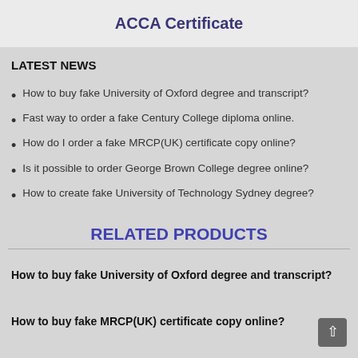ACCA Certificate
LATEST NEWS
How to buy fake University of Oxford degree and transcript?
Fast way to order a fake Century College diploma online.
How do I order a fake MRCP(UK) certificate copy online?
Is it possible to order George Brown College degree online?
How to create fake University of Technology Sydney degree?
RELATED PRODUCTS
How to buy fake University of Oxford degree and transcript?
How to buy fake MRCP(UK) certificate copy online?